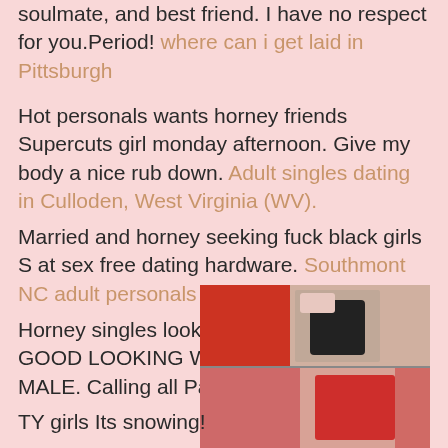soulmate, and best friend. I have no respect for you.Period! where can i get laid in Pittsburgh
Hot personals wants horney friends Supercuts girl monday afternoon. Give my body a nice rub down. Adult singles dating in Culloden, West Virginia (WV).
Married and horney seeking fuck black girls S at sex free dating hardware. Southmont NC adult personals
Horney singles looking woman free fuck GOOD LOOKING WELL-HUNG BLACK MALE. Calling all PaR
[Figure (photo): Two photo collage showing women in revealing clothing]
TY girls Its snowing!